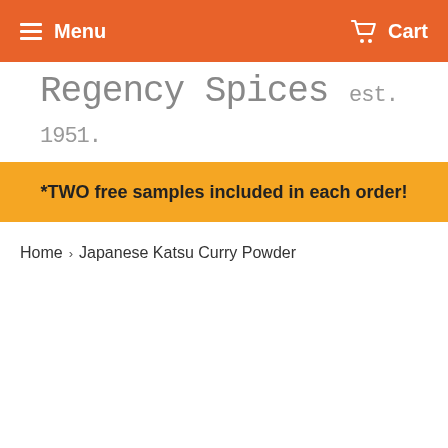Menu   Cart
Regency Spices est. 1951.
*TWO free samples included in each order!
Home › Japanese Katsu Curry Powder